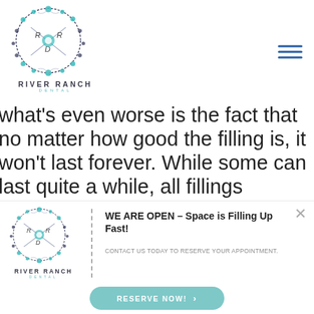[Figure (logo): River Ranch Dental circular floral logo with R R D letters inside, teal and navy colors. Text below reads RIVER RANCH in bold and DENTAL in teal smaller letters.]
[Figure (other): Hamburger menu icon with three horizontal blue lines, top right corner]
what's even worse is the fact that no matter how good the filling is, it won't last forever. While some can last quite a while, all fillings eventually
[Figure (logo): River Ranch Dental circular floral logo (smaller version) with RIVER RANCH and DENTAL text below, in notification bar]
WE ARE OPEN – Space is Filling Up Fast!
CONTACT US TODAY TO RESERVE YOUR APPOINTMENT.
RESERVE NOW! ›